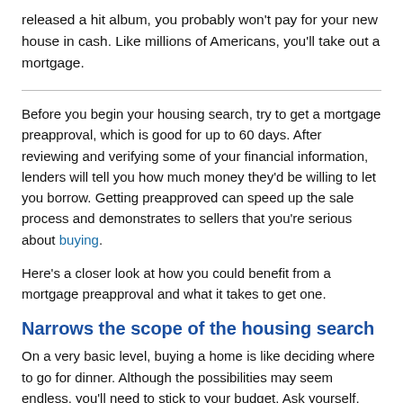released a hit album, you probably won't pay for your new house in cash. Like millions of Americans, you'll take out a mortgage.
Before you begin your housing search, try to get a mortgage preapproval, which is good for up to 60 days. After reviewing and verifying some of your financial information, lenders will tell you how much money they'd be willing to let you borrow. Getting preapproved can speed up the sale process and demonstrates to sellers that you're serious about buying.
Here's a closer look at how you could benefit from a mortgage preapproval and what it takes to get one.
Narrows the scope of the housing search
On a very basic level, buying a home is like deciding where to go for dinner. Although the possibilities may seem endless, you'll need to stick to your budget. Ask yourself, how much house can I afford? And